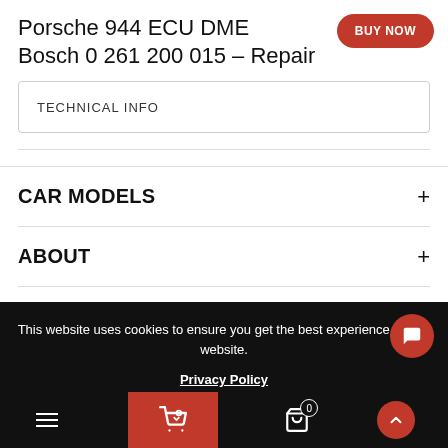Porsche 944 ECU DME Bosch 0 261 200 015 – Repair
BUY NOW
TECHNICAL INFO
CAR MODELS
ABOUT
SUPPORT
This website uses cookies to ensure you get the best experience on our website.
Privacy Policy
Bottom navigation bar with menu, cart, basket (0), and up arrow